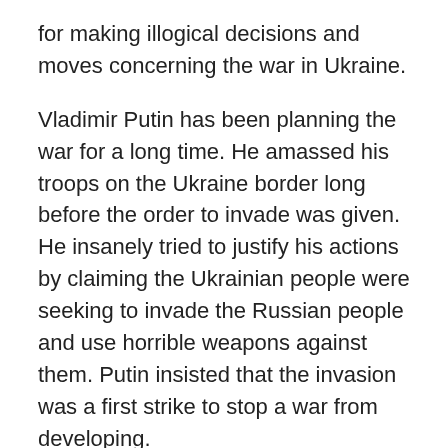for making illogical decisions and moves concerning the war in Ukraine.
Vladimir Putin has been planning the war for a long time. He amassed his troops on the Ukraine border long before the order to invade was given. He insanely tried to justify his actions by claiming the Ukrainian people were seeking to invade the Russian people and use horrible weapons against them. Putin insisted that the invasion was a first strike to stop a war from developing.
The Russian president continues to make
Generated by Feedzy